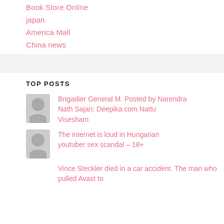Book Store Online
japan
America Mall
China news
TOP POSTS
Brigadier General M. Posted by Narendra Nath Sajan: Deepika.com Nattu Visesham
The internet is loud in Hungarian youtuber sex scandal – 18+
Vince Steckler died in a car accident. The man who pulled Avast to